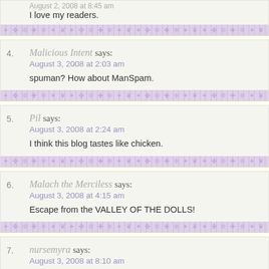August 2, 2008 at 8:45 am
I love my readers.
4. Malicious Intent says: August 3, 2008 at 2:03 am
spuman? How about ManSpam.
5. Pil says: August 3, 2008 at 2:24 am
I think this blog tastes like chicken.
6. Malach the Merciless says: August 3, 2008 at 4:15 am
Escape from the VALLEY OF THE DOLLS!
7. nursemyra says: August 3, 2008 at 8:10 am